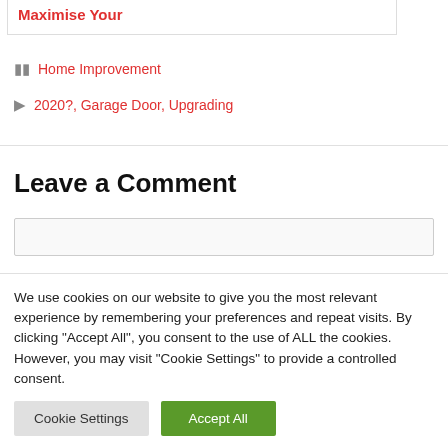Maximise Your
Home Improvement
2020?, Garage Door, Upgrading
Leave a Comment
We use cookies on our website to give you the most relevant experience by remembering your preferences and repeat visits. By clicking "Accept All", you consent to the use of ALL the cookies. However, you may visit "Cookie Settings" to provide a controlled consent.
Cookie Settings | Accept All